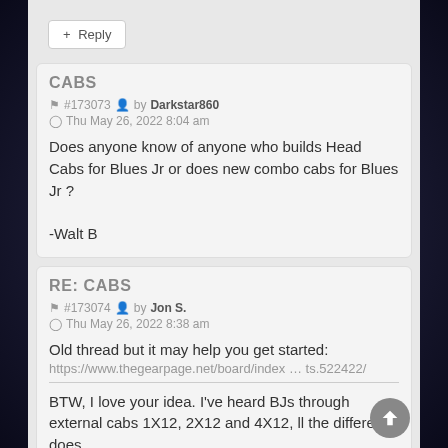+ Reply
CABS
#173073 by Darkstar860
Thu May 26, 2022 8:04 am
Does anyone know of anyone who builds Head Cabs for Blues Jr or does new combo cabs for Blues Jr ?

-Walt B
RE: CABS
#173074 by Jon S.
Thu May 26, 2022 8:38 am
Old thread but it may help you get started:
https://www.thegearpage.net/board/index … ts.522422/

BTW, I love your idea. I've heard BJs through external cabs 1X12, 2X12 and 4X12, ll the difference does...